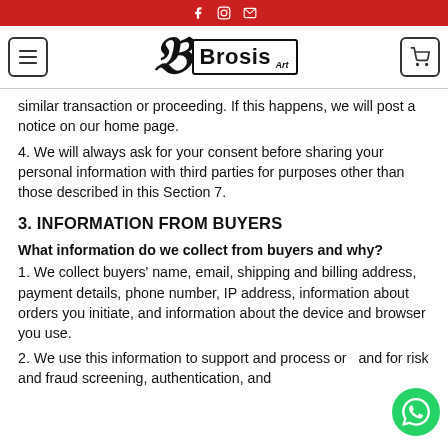Brosis Art — social icons header bar
similar transaction or proceeding. If this happens, we will post a notice on our home page.
4. We will always ask for your consent before sharing your personal information with third parties for purposes other than those described in this Section 7.
3. INFORMATION FROM BUYERS
What information do we collect from buyers and why?
1. We collect buyers' name, email, shipping and billing address, payment details, phone number, IP address, information about orders you initiate, and information about the device and browser you use.
2. We use this information to support and process orders and for risk and fraud screening, authentication, and